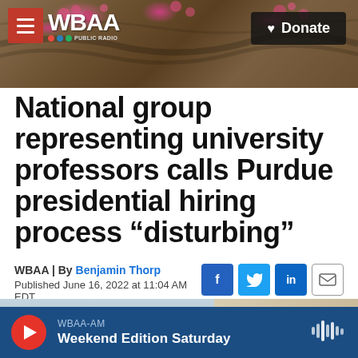[Figure (screenshot): WBAA radio station website header with tree/cherry blossom background photo, WBAA logo with NPR affiliation badge, red hamburger menu button, and black Donate button]
National group representing university professors calls Purdue presidential hiring process “disturbing”
WBAA | By Benjamin Thorp
Published June 16, 2022 at 11:04 AM EDT
[Figure (other): Social share buttons: Facebook (f), Twitter (bird), LinkedIn (in), Email (envelope icon)]
[Figure (photo): Partial outdoor photo strip at bottom of article area]
WBAA-AM
Weekend Edition Saturday